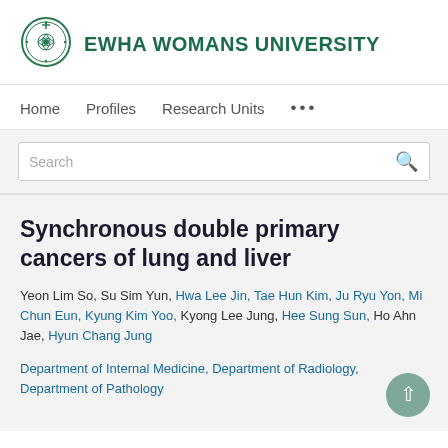[Figure (logo): Ewha Womans University logo with circular emblem and green text]
EWHA WOMANS UNIVERSITY
Home   Profiles   Research Units   ...
Search
Synchronous double primary cancers of lung and liver
Yeon Lim So, Su Sim Yun, Hwa Lee Jin, Tae Hun Kim, Ju Ryu Yon, Mi Chun Eun, Kyung Kim Yoo, Kyong Lee Jung, Hee Sung Sun, Ho Ahn Jae, Hyun Chang Jung
Department of Internal Medicine, Department of Radiology, Department of Pathology